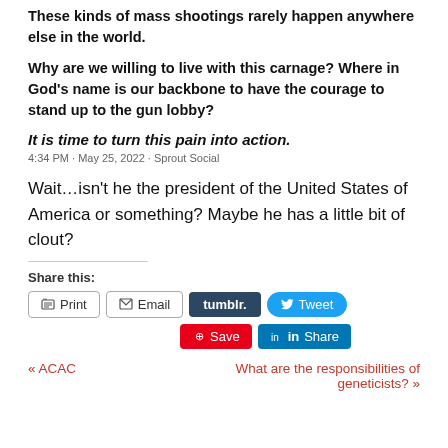These kinds of mass shootings rarely happen anywhere else in the world.
Why are we willing to live with this carnage? Where in God's name is our backbone to have the courage to stand up to the gun lobby?
It is time to turn this pain into action.
4:34 PM · May 25, 2022 · Sprout Social
Wait…isn't he the president of the United States of America or something? Maybe he has a little bit of clout?
Share this:
Print | Email | tumblr. | Tweet | Save | Share